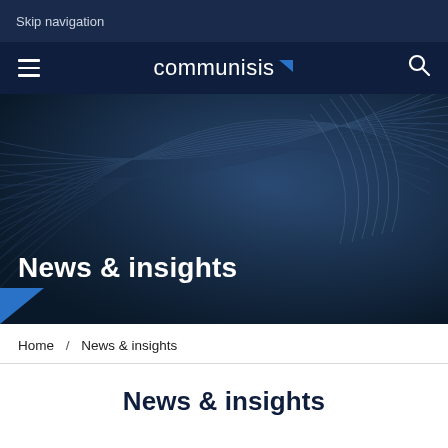Skip navigation
[Figure (logo): Communisis logo with hamburger menu and search icon on dark navy navigation bar]
[Figure (photo): Abstract dark blue architectural pattern hero image with 'News & insights' title overlay]
Home / News & insights
News & insights